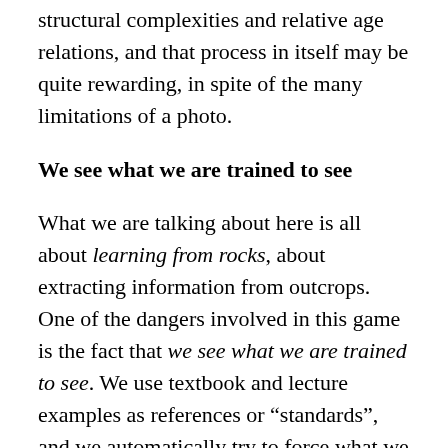structural complexities and relative age relations, and that process in itself may be quite rewarding, in spite of the many limitations of a photo.
We see what we are trained to see
What we are talking about here is all about learning from rocks, about extracting information from outcrops. One of the dangers involved in this game is the fact that we see what we are trained to see. We use textbook and lecture examples as references or “standards”, and we automatically try to force what we see in the field into those models. I guess you could say that we are all brainwashed to some extent. This does